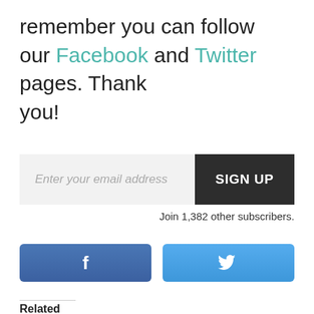remember you can follow our Facebook and Twitter pages. Thank you!
Enter your email address
SIGN UP
Join 1,382 other subscribers.
[Figure (other): Facebook social button with 'f' icon, blue gradient background]
[Figure (other): Twitter social button with bird icon, blue gradient background]
Related
[Figure (photo): Outdoor scene with people exercising or walking on a path]
[Figure (photo): Woman with shopping bags in front of a city building]